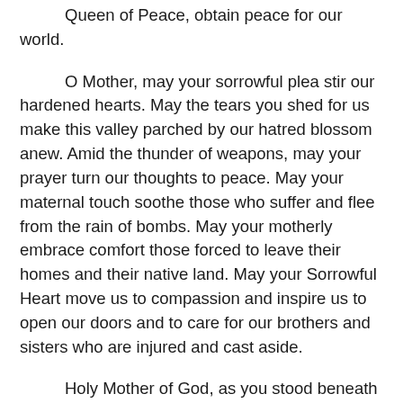Queen of Peace, obtain peace for our world.
O Mother, may your sorrowful plea stir our hardened hearts. May the tears you shed for us make this valley parched by our hatred blossom anew. Amid the thunder of weapons, may your prayer turn our thoughts to peace. May your maternal touch soothe those who suffer and flee from the rain of bombs. May your motherly embrace comfort those forced to leave their homes and their native land. May your Sorrowful Heart move us to compassion and inspire us to open our doors and to care for our brothers and sisters who are injured and cast aside.
Holy Mother of God, as you stood beneath the cross, Jesus, seeing the disciple at your side, said: “Behold your son” (Jn 19:26). In this way he entrusted each of us to you. To the disciple, and to each of us, he said: “Behold, your Mother” (v. 27). Mother Mary, we now desire to welcome you into our lives and our history. At this hour, a weary and distraught humanity stands with you beneath the